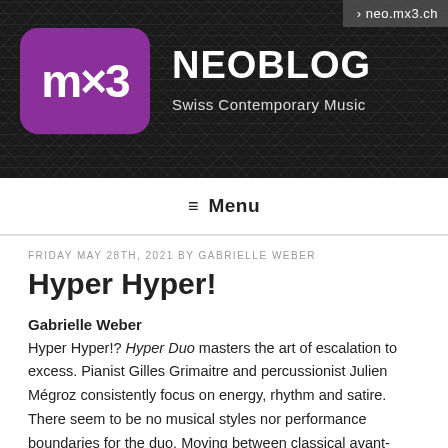NEOBLOG — Swiss Contemporary Music — neo.mx3.ch
≡ Menu
FRIDAY MAY 28TH, 2021 BY GABRIELLE WEBER
Hyper Hyper!
Gabrielle Weber
Hyper Hyper!? Hyper Duo masters the art of escalation to excess. Pianist Gilles Grimaitre and percussionist Julien Mégroz consistently focus on energy, rhythm and satire. There seem to be no musical styles nor performance boundaries for the duo. Moving between classical avant-garde and pop-rock, Hyper Duo